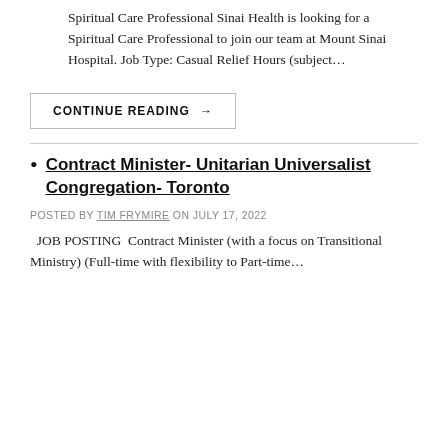Spiritual Care Professional Sinai Health is looking for a Spiritual Care Professional to join our team at Mount Sinai Hospital. Job Type: Casual Relief Hours (subject...
CONTINUE READING →
Contract Minister- Unitarian Universalist Congregation- Toronto
POSTED BY TIM FRYMIRE ON JULY 17, 2022
JOB POSTING  Contract Minister (with a focus on Transitional Ministry) (Full-time with flexibility to Part-time...